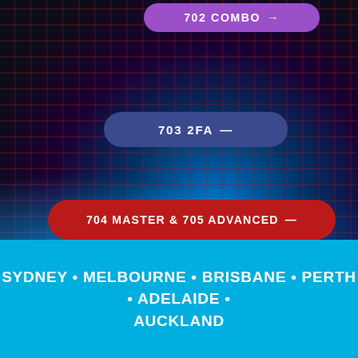[Figure (illustration): Dark background with red/purple grid pattern overlay and blue glowing light blobs at bottom, resembling a financial data visualization aesthetic]
702 COMBO →
703 2FA →
704 MASTER & 705 ADVANCED →
SYDNEY • MELBOURNE • BRISBANE • PERTH • ADELAIDE • AUCKLAND